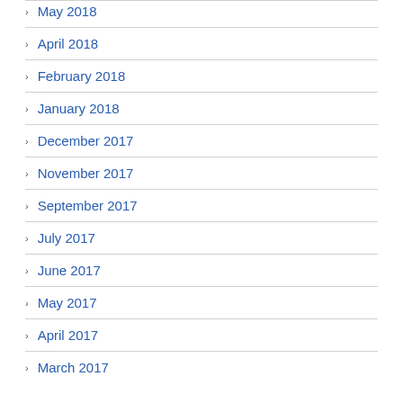May 2018
April 2018
February 2018
January 2018
December 2017
November 2017
September 2017
July 2017
June 2017
May 2017
April 2017
March 2017